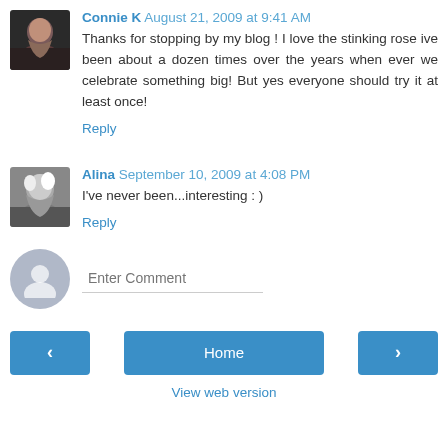Connie K August 21, 2009 at 9:41 AM
Thanks for stopping by my blog ! I love the stinking rose ive been about a dozen times over the years when ever we celebrate something big! But yes everyone should try it at least once!
Reply
Alina September 10, 2009 at 4:08 PM
I've never been...interesting : )
Reply
Enter Comment
Home
View web version